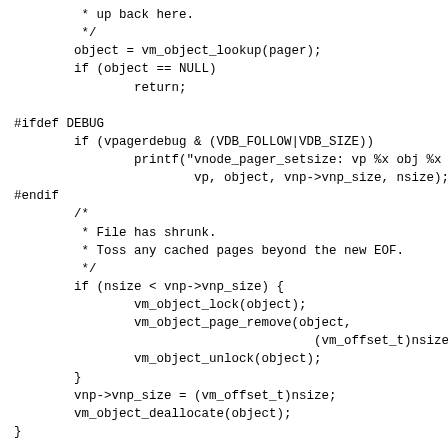* up back here.
 */
object = vm_object_lookup(pager);
if (object == NULL)
        return;

#ifdef DEBUG
        if (vpagerdebug & (VDB_FOLLOW|VDB_SIZE))
                printf("vnode_pager_setsize: vp %x obj %x
                        vp, object, vnp->vnp_size, nsize);
#endif
        /*
         * File has shrunk.
         * Toss any cached pages beyond the new EOF.
         */
        if (nsize < vnp->vnp_size) {
                vm_object_lock(object);
                vm_object_page_remove(object,
                                        (vm_offset_t)nsize,
                vm_object_unlock(object);
        }
        vnp->vnp_size = (vm_offset_t)nsize;
        vm_object_deallocate(object);
}

vnode_pager_umount(mp)
        register struct mount *mp;
{

        register vm_pager_t pager, npager;
        struct vnode *vp;